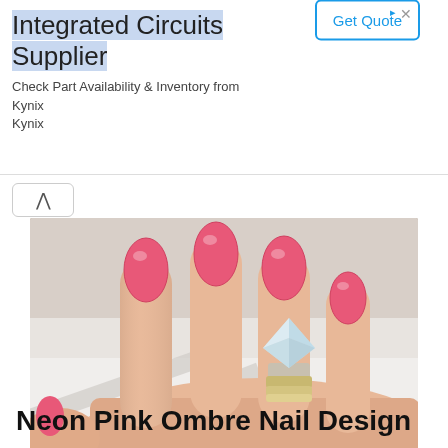[Figure (screenshot): Advertisement banner for Integrated Circuits Supplier - Kynix. Shows title 'Integrated Circuits Supplier', description 'Check Part Availability & Inventory from Kynix Kynix', and a 'Get Quote' button.]
[Figure (photo): Close-up photo of a woman's hand with long oval-shaped neon pink/coral painted nails, wearing a large clear crystal ring and gold band rings on the ring finger.]
Neon Pink Ombre Nail Design